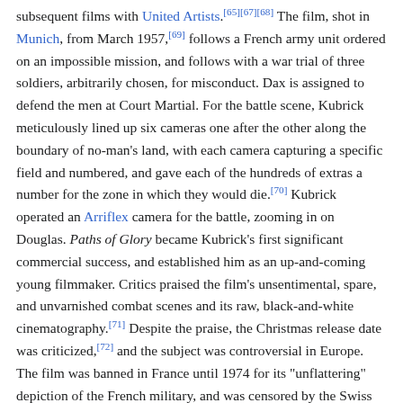subsequent films with United Artists.[65][67][68] The film, shot in Munich, from March 1957,[69] follows a French army unit ordered on an impossible mission, and follows with a war trial of three soldiers, arbitrarily chosen, for misconduct. Dax is assigned to defend the men at Court Martial. For the battle scene, Kubrick meticulously lined up six cameras one after the other along the boundary of no-man's land, with each camera capturing a specific field and numbered, and gave each of the hundreds of extras a number for the zone in which they would die.[70] Kubrick operated an Arriflex camera for the battle, zooming in on Douglas. Paths of Glory became Kubrick's first significant commercial success, and established him as an up-and-coming young filmmaker. Critics praised the film's unsentimental, spare, and unvarnished combat scenes and its raw, black-and-white cinematography.[71] Despite the praise, the Christmas release date was criticized,[72] and the subject was controversial in Europe. The film was banned in France until 1974 for its "unflattering" depiction of the French military, and was censored by the Swiss Army until 1970.[71]